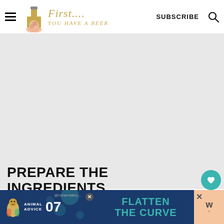First... You Have a Beer — SUBSCRIBE (navigation header with hamburger menu and search icon)
[Figure (screenshot): Large gray placeholder image area below the header]
PREPARE THE INGREDIENTS
[Figure (infographic): Advertisement banner: Animal Advice 07 / Flatten the Curve, with blue background and teal text, close buttons, and a salmon-colored side panel with a logo]
[Figure (other): Social sidebar with teal heart button (1.6K) and teal share button on the right side]